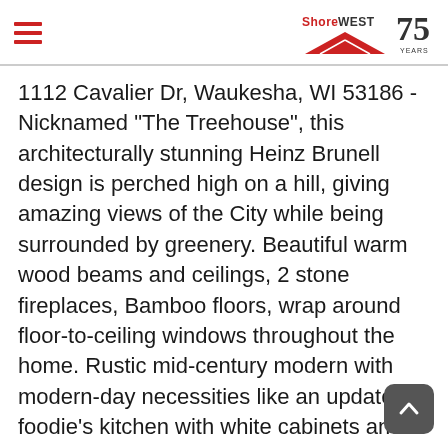Shorewest — 75 Years
1112 Cavalier Dr, Waukesha, WI 53186 - Nicknamed "The Treehouse", this architecturally stunning Heinz Brunell design is perched high on a hill, giving amazing views of the City while being surrounded by greenery. Beautiful warm wood beams and ceilings, 2 stone fireplaces, Bamboo floors, wrap around floor-to-ceiling windows throughout the home. Rustic mid-century modern with modern-day necessities like an updated foodie's kitchen with white cabinets and gleaming quartz counters, convenient main floor laundry with brand new appliances, solid-core doors, heated tile floors and dual vanities in the Master Bath. No shortage of space for entertaining or storage, plus a mudroom/family foyer before entering from the